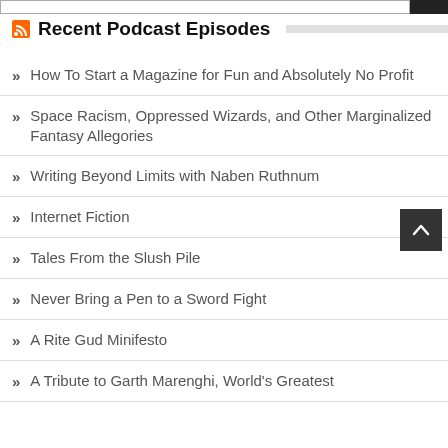Recent Podcast Episodes
How To Start a Magazine for Fun and Absolutely No Profit
Space Racism, Oppressed Wizards, and Other Marginalized Fantasy Allegories
Writing Beyond Limits with Naben Ruthnum
Internet Fiction
Tales From the Slush Pile
Never Bring a Pen to a Sword Fight
A Rite Gud Minifesto
A Tribute to Garth Marenghi, World's Greatest